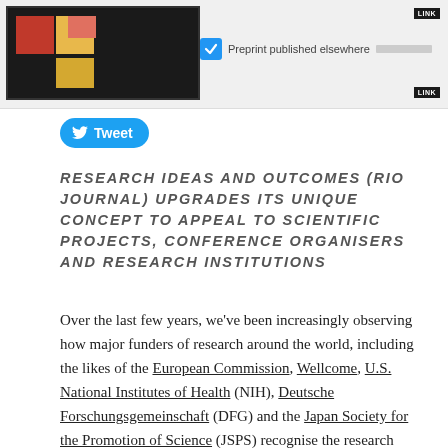[Figure (screenshot): UI screenshot showing a publication card with colored blocks (red, yellow, salmon), a blue checkbox labeled 'Preprint published elsewhere', progress bar, and two LINK badges]
Tweet
RESEARCH IDEAS AND OUTCOMES (RIO JOURNAL) UPGRADES ITS UNIQUE CONCEPT TO APPEAL TO SCIENTIFIC PROJECTS, CONFERENCE ORGANISERS AND RESEARCH INSTITUTIONS
Over the last few years, we've been increasingly observing how major funders of research around the world, including the likes of the European Commission, Wellcome, U.S. National Institutes of Health (NIH), Deutsche Forschungsgemeinschaft (DFG) and the Japan Society for the Promotion of Science (JSPS) recognise the research cycle as a continuum, rather than scattered standalone conclusions and reports.